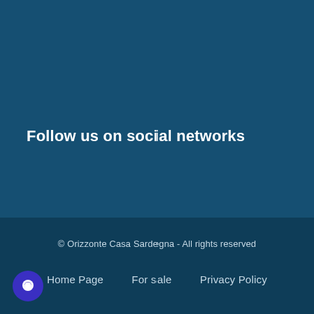Follow us on social networks
© Orizzonte Casa Sardegna - All rights reserved
Home Page   For sale   Privacy Policy